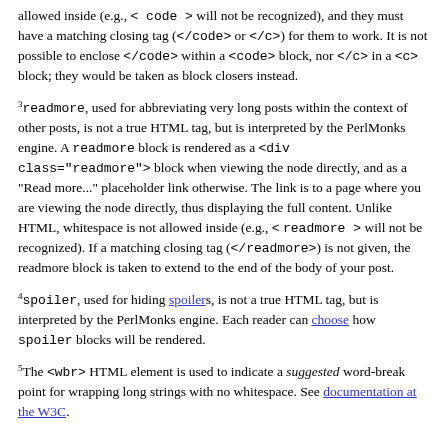allowed inside (e.g., < code > will not be recognized), and they must have a matching closing tag (</code> or </c>) for them to work. It is not possible to enclose </code> within a <code> block, nor </c> in a <c> block; they would be taken as block closers instead.
3readmore, used for abbreviating very long posts within the context of other posts, is not a true HTML tag, but is interpreted by the PerlMonks engine. A readmore block is rendered as a <div class="readmore"> block when viewing the node directly, and as a "Read more..." placeholder link otherwise. The link is to a page where you are viewing the node directly, thus displaying the full content. Unlike HTML, whitespace is not allowed inside (e.g., < readmore > will not be recognized). If a matching closing tag (</readmore>) is not given, the readmore block is taken to extend to the end of the body of your post.
4spoiler, used for hiding spoilers, is not a true HTML tag, but is interpreted by the PerlMonks engine. Each reader can choose how spoiler blocks will be rendered.
5The <wbr> HTML element is used to indicate a suggested word-break point for wrapping long strings with no whitespace. See documentation at the W3C.